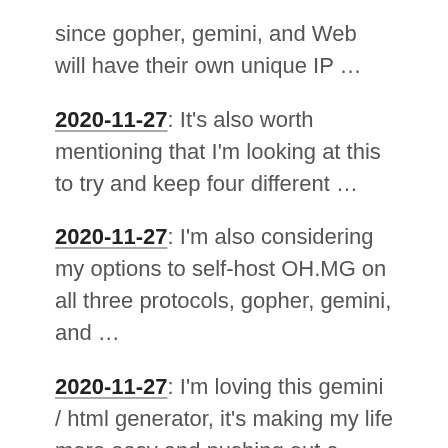since gopher, gemini, and Web will have their own unique IP …
2020-11-27: It's also worth mentioning that I'm looking at this to try and keep four different …
2020-11-27: I'm also considering my options to self-host OH.MG on all three protocols, gopher, gemini, and …
2020-11-27: I'm loving this gemini / html generator, it's making my life more easy and pushing out a …
2020-11-25: Sweet baby jésus, I have far too many domains, I realise how many now that I have to redirect them …
2020-11-25: I'm so shocked right now. I bought &amp; …